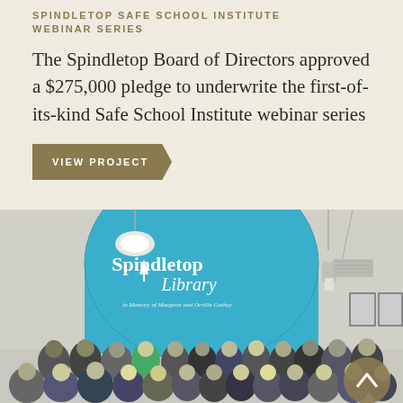SPINDLETOP SAFE SCHOOL INSTITUTE
WEBINAR SERIES
The Spindletop Board of Directors approved a $275,000 pledge to underwrite the first-of-its-kind Safe School Institute webinar series
VIEW PROJECT
[Figure (photo): Group photo of approximately 30 people posing in front of a large blue dome-shaped structure labeled 'Spindletop Library - in Memory of Margaret and Orville Guthey' with pendant lights hanging from the ceiling.]